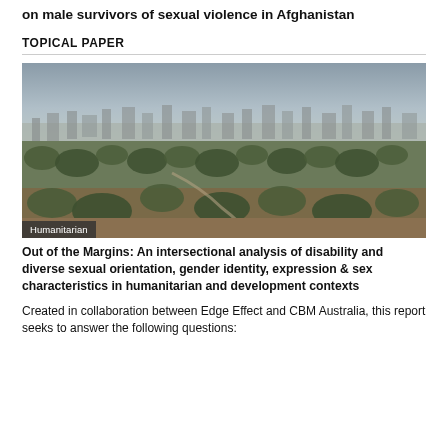on male survivors of sexual violence in Afghanistan
TOPICAL PAPER
[Figure (photo): Aerial/elevated view of a large city with dense urban development, trees and green areas in the foreground, and expansive city buildings extending to the horizon under an overcast sky. A label 'Humanitarian' appears in the lower left corner.]
Out of the Margins: An intersectional analysis of disability and diverse sexual orientation, gender identity, expression & sex characteristics in humanitarian and development contexts
Created in collaboration between Edge Effect and CBM Australia, this report seeks to answer the following questions: